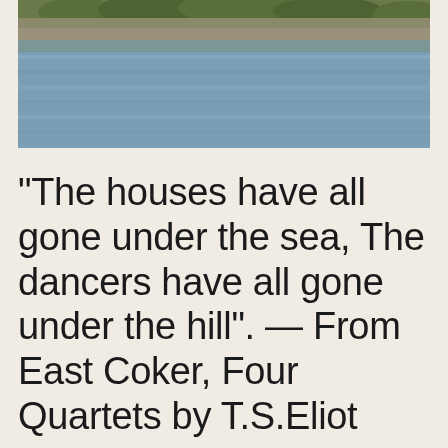[Figure (photo): A photograph showing a body of water (river or sea) with a rocky shoreline and vegetation in the upper portion of the image.]
“The houses have all gone under the sea, The dancers have all gone under the hill”. — From East Coker, Four Quartets by T.S.Eliot